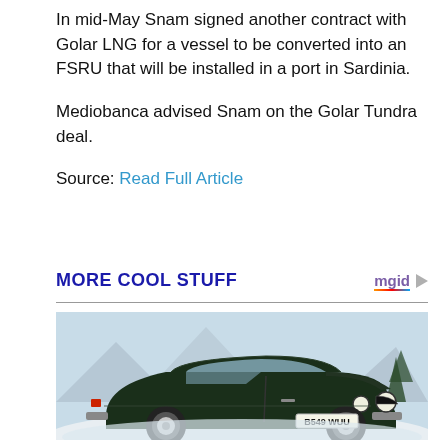In mid-May Snam signed another contract with Golar LNG for a vessel to be converted into an FSRU that will be installed in a port in Sardinia.
Mediobanca advised Snam on the Golar Tundra deal.
Source: Read Full Article
MORE COOL STUFF
[Figure (photo): Dark green Aston Martin classic car (licence plate B549 WUU) photographed in snowy winter setting with mountains in background]